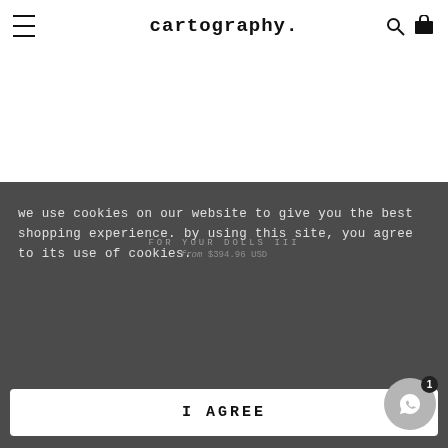cartography.
from $394.96 USD
we use cookies on our website to give you the best shopping experience. by using this site, you agree to its use of cookies.
FOR YOUR DOLLS III
from $394.96 USD
I AGREE